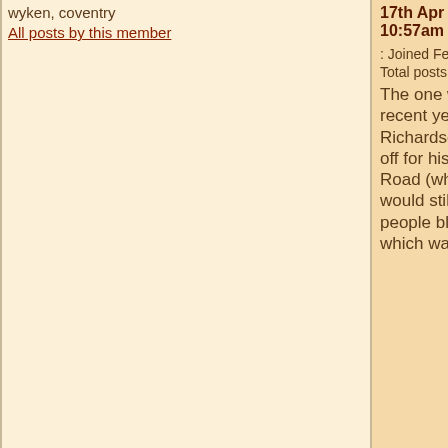wyken, coventry
All posts by this member
17th Apr 2012
10:57am
: Joined Feb 2012
Total posts:92
The one who should take most of recent years blame is Brian Richardson, he skimmed all assets off for his own good, sold Highfield Road (which if still there at least we would still own something!!) A lot of people blamed Gordon Strachan, which was way off the mark, b